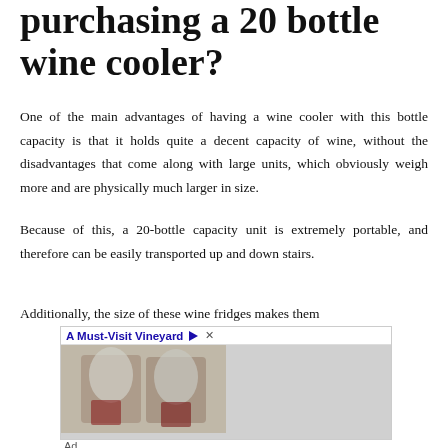purchasing a 20 bottle wine cooler?
One of the main advantages of having a wine cooler with this bottle capacity is that it holds quite a decent capacity of wine, without the disadvantages that come along with large units, which obviously weigh more and are physically much larger in size.
Because of this, a 20-bottle capacity unit is extremely portable, and therefore can be easily transported up and down stairs.
Additionally, the size of these wine fridges makes them
[Figure (photo): Advertisement showing two hands clinking stemless wine glasses with red wine, outdoors. Ad header reads 'A Must-Visit Vineyard' with a triangular play icon and close button.]
Ad